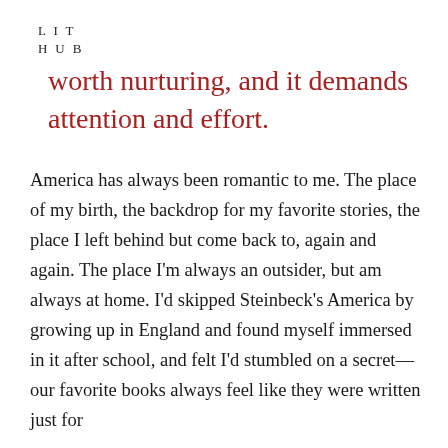LIT
HUB
worth nurturing, and it demands attention and effort.
America has always been romantic to me. The place of my birth, the backdrop for my favorite stories, the place I left behind but come back to, again and again. The place I'm always an outsider, but am always at home. I'd skipped Steinbeck's America by growing up in England and found myself immersed in it after school, and felt I'd stumbled on a secret—our favorite books always feel like they were written just for